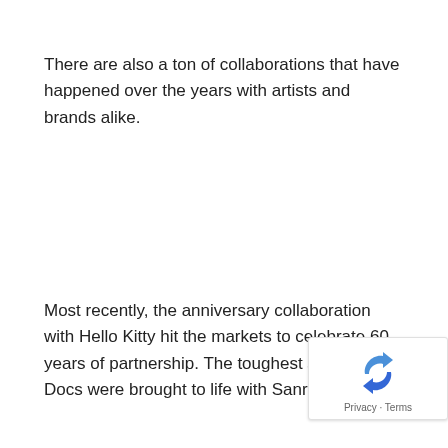There are also a ton of collaborations that have happened over the years with artists and brands alike.
Most recently, the anniversary collaboration with Hello Kitty hit the markets to celebrate 60 years of partnership. The toughest styles of Docs were brought to life with Sanrio motifs.